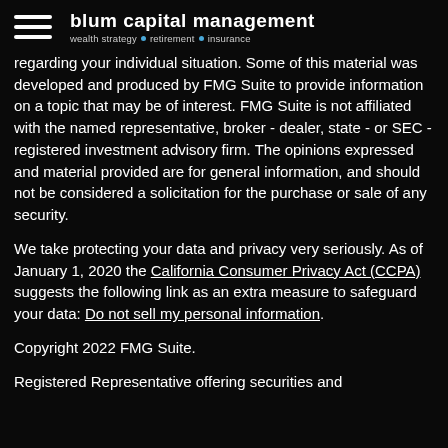blum capital management — wealth strategy • retirement • insurance
regarding your individual situation. Some of this material was developed and produced by FMG Suite to provide information on a topic that may be of interest. FMG Suite is not affiliated with the named representative, broker - dealer, state - or SEC - registered investment advisory firm. The opinions expressed and material provided are for general information, and should not be considered a solicitation for the purchase or sale of any security.
We take protecting your data and privacy very seriously. As of January 1, 2020 the California Consumer Privacy Act (CCPA) suggests the following link as an extra measure to safeguard your data: Do not sell my personal information.
Copyright 2022 FMG Suite.
Registered Representative offering securities and